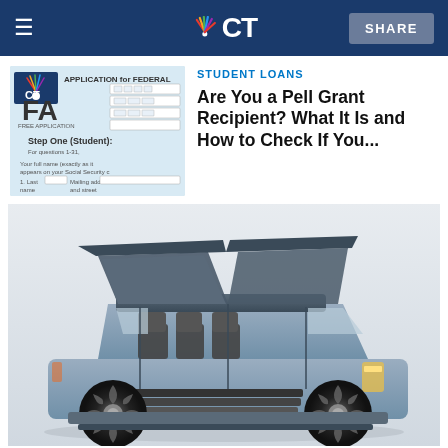CT — SHARE
[Figure (photo): FAFSA form — Free Application for Federal Student Aid document]
STUDENT LOANS
Are You a Pell Grant Recipient? What It Is and How to Check If You...
[Figure (photo): Lincoln Navigator concept SUV with gull-wing doors open showing interior seating]